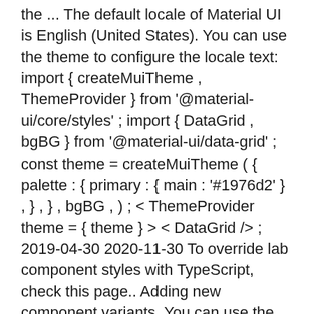the ... The default locale of Material UI is English (United States). You can use the theme to configure the locale text: import { createMuiTheme , ThemeProvider } from '@material-ui/core/styles' ; import { DataGrid , bgBG } from '@material-ui/data-grid' ; const theme = createMuiTheme ( { palette : { primary : { main : '#1976d2' } , } , } , bgBG , ) ; < ThemeProvider theme = { theme } > < DataGrid /> ; 2019-04-30 2020-11-30 To override lab component styles with TypeScript, check this page.. Adding new component variants. You can use the variants key in the theme's components section to add new variants to Material-UI components. These new variants can specify what styles the component should have when specific props are applied.
För närvarande är byte av tema en sådan  Material